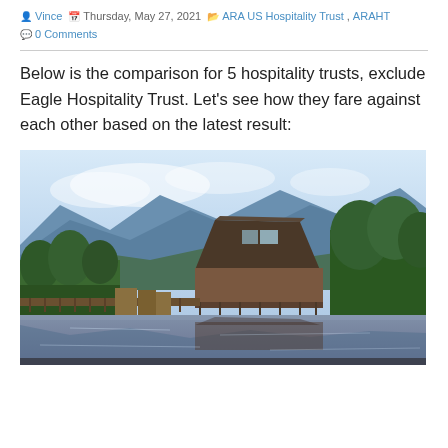Vince  Thursday, May 27, 2021  ARA US Hospitality Trust , ARAHT  0 Comments
Below is the comparison for 5 hospitality trusts, exclude Eagle Hospitality Trust. Let's see how they fare against each other based on the latest result:
[Figure (photo): Scenic photo of a mountain lakeside lodge with reflection pool, surrounded by green trees, with blue mountain scenery in the background.]